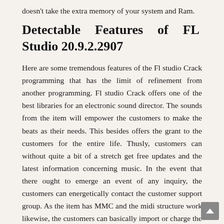doesn't take the extra memory of your system and Ram.
Detectable Features of FL Studio 20.9.2.2907
Here are some tremendous features of the Fl studio Crack programming that has the limit of refinement from another programming. Fl studio Crack offers one of the best libraries for an electronic sound director. The sounds from the item will empower the customers to make the beats as their needs. This besides offers the grant to the customers for the entire life. Thusly, customers can without quite a bit of a stretch get free updates and the latest information concerning music. In the event that there ought to emerge an event of any inquiry, the customers can energetically contact the customer support group. As the item has MMC and the midi structure work likewise, the customers can basically import or charge the midi records.
The blenders in this studio pass on most special sorts of Features.